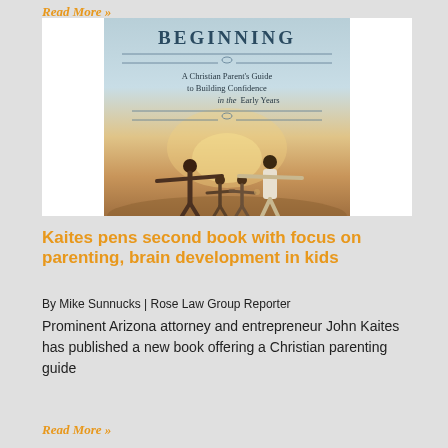Read More »
[Figure (photo): Book cover for a Christian parenting book. Top portion shows large bold text 'BEGINNING' with subtitle 'A Christian Parent's Guide to Building Confidence in the Early Years'. Bottom portion shows silhouettes of a family of four with arms outstretched against a sunset background.]
Kaites pens second book with focus on parenting, brain development in kids
By Mike Sunnucks | Rose Law Group Reporter
Prominent Arizona attorney and entrepreneur John Kaites has published a new book offering a Christian parenting guide
Read More »